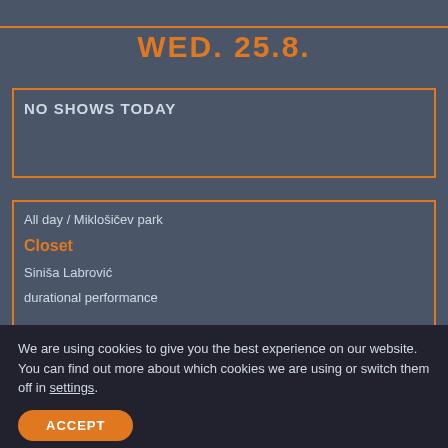WED. 25.8.
NO SHOWS TODAY
All day / Miklošičev park
Closet
Siniša Labrović
durational performance
THU. 26.8.
We are using cookies to give you the best experience on our website. You can find out more about which cookies we are using or switch them off in settings.
ACCEPT